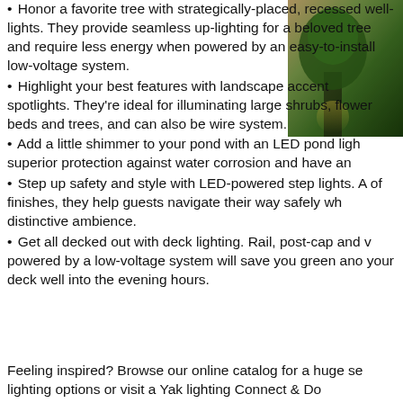Honor a favorite tree with strategically-placed, recessed well-lights. They provide seamless up-lighting for a beloved tree and require less energy when powered by an easy-to-install low-voltage system.
[Figure (photo): Outdoor garden/landscape photo showing a tree or garden area at night with lighting, visible in upper right corner of page.]
Highlight your best features with landscape accent spotlights. They're ideal for illuminating large shrubs, flower beds and trees, and can also be wired system.
Add a little shimmer to your pond with an LED pond light. superior protection against water corrosion and have an
Step up safety and style with LED-powered step lights. A of finishes, they help guests navigate their way safely while distinctive ambience.
Get all decked out with deck lighting. Rail, post-cap and powered by a low-voltage system will save you green and your deck well into the evening hours.
Feeling inspired? Browse our online catalog for a huge se lighting options or visit a Yak lighting Connect & Do...